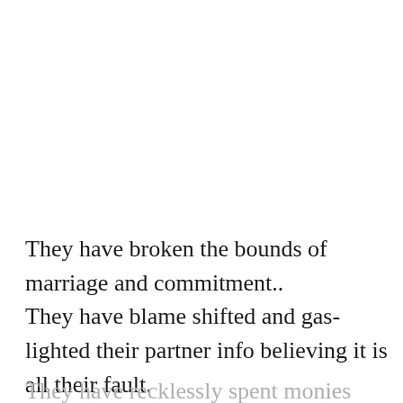They have broken the bounds of marriage and commitment.. They have blame shifted and gas-lighted their partner info believing it is all their fault. Thereby inflicting emotional abuse.
They have recklessly spent monies secured for